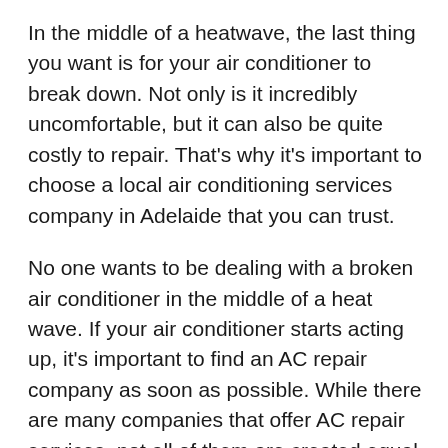In the middle of a heatwave, the last thing you want is for your air conditioner to break down. Not only is it incredibly uncomfortable, but it can also be quite costly to repair. That's why it's important to choose a local air conditioning services company in Adelaide that you can trust.
No one wants to be dealing with a broken air conditioner in the middle of a heat wave. If your air conditioner starts acting up, it's important to find an AC repair company as soon as possible. While there are many companies that offer AC repair services, not all of them are created equal. Here are a few reasons why you should choose a local company for your AC repairs: